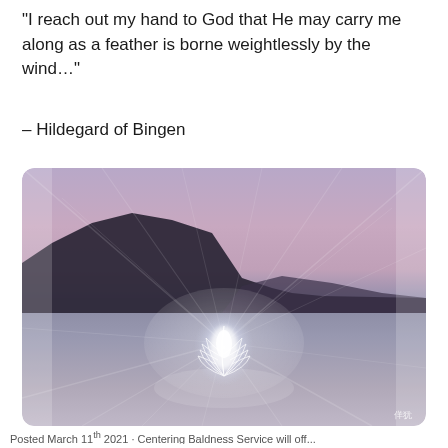“I reach out my hand to God that He may carry me along as a feather is borne weightlessly by the wind…”
– Hildegard of Bingen
[Figure (photo): A glowing white feather floating just above a sandy beach or frozen surface, with dramatic light rays radiating outward from the feather. In the background are dark mountain silhouettes under a purple-pink twilight sky. The image has a mystical, ethereal quality with lens flare effects.]
Posted March 11 th 2021 · Centering Baldness Service will off...